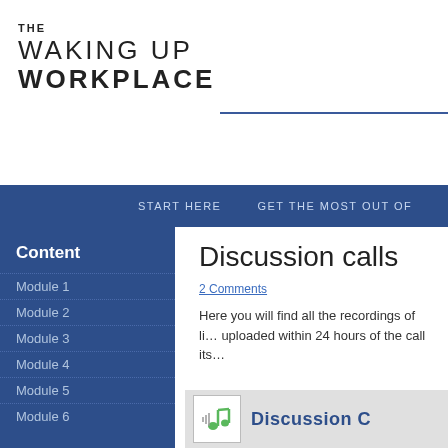WAKING UP THE WORKPLACE
START HERE   GET THE MOST OUT OF
Content
Module 1
Module 2
Module 3
Module 4
Module 5
Module 6
Discussion calls
2 Comments
Here you will find all the recordings of li… uploaded within 24 hours of the call its…
[Figure (screenshot): Discussion call audio player icon with music note and 'Discussion C' title text]